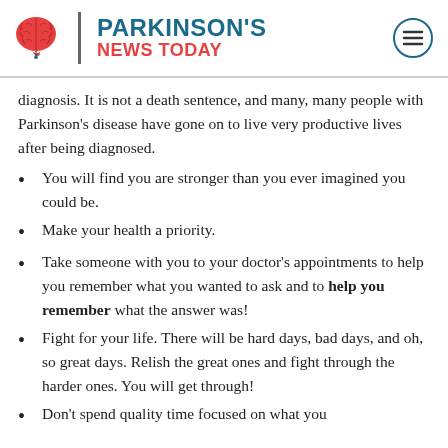PARKINSON'S NEWS TODAY
diagnosis. It is not a death sentence, and many, many people with Parkinson's disease have gone on to live very productive lives after being diagnosed.
You will find you are stronger than you ever imagined you could be.
Make your health a priority.
Take someone with you to your doctor's appointments to help you remember what you wanted to ask and to help you remember what the answer was!
Fight for your life. There will be hard days, bad days, and oh, so great days. Relish the great ones and fight through the harder ones. You will get through!
Don't spend quality time focused on what you